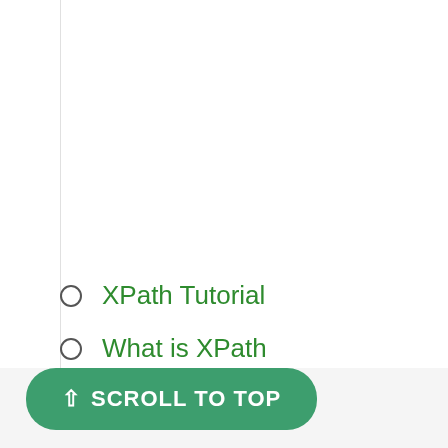XPath Tutorial
What is XPath
XPath Expression
⇧ SCROLL TO TOP